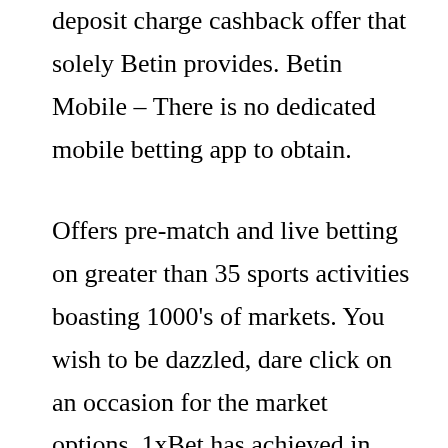deposit charge cashback offer that solely Betin provides. Betin Mobile – There is no dedicated mobile betting app to obtain.
Offers pre-match and live betting on greater than 35 sports activities boasting 1000's of markets. You wish to be dazzled, dare click on an occasion for the market options. 1xBet has achieved in creating an alternative if not a further method to add money to your account. You simply need to visit the website, choose a preferable choice of registration and fill in all